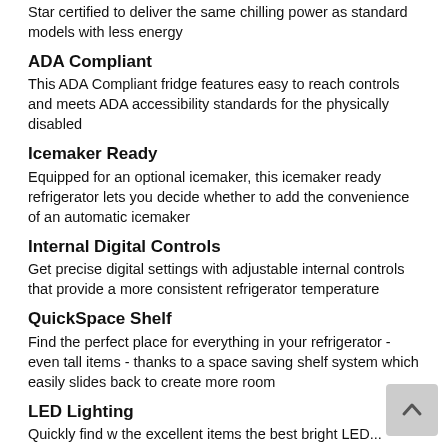Star certified to deliver the same chilling power as standard models with less energy
ADA Compliant
This ADA Compliant fridge features easy to reach controls and meets ADA accessibility standards for the physically disabled
Icemaker Ready
Equipped for an optional icemaker, this icemaker ready refrigerator lets you decide whether to add the convenience of an automatic icemaker
Internal Digital Controls
Get precise digital settings with adjustable internal controls that provide a more consistent refrigerator temperature
QuickSpace Shelf
Find the perfect place for everything in your refrigerator - even tall items - thanks to a space saving shelf system which easily slides back to create more room
LED Lighting
Quickly find w the excellent items the best bright LED...